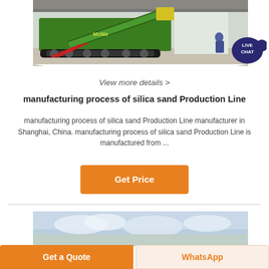[Figure (photo): Green industrial silica sand production line / mobile crusher machine on tracks, inside a warehouse/factory, with a person visible near the machine.]
View more details >
manufacturing process of silica sand Production Line
manufacturing process of silica sand Production Line manufacturer in Shanghai, China. manufacturing process of silica sand Production Line is manufactured from ...
Get Price
[Figure (photo): Partial photo of sky/clouds scene, partially visible at the bottom of the page.]
Get a Quote
WhatsApp